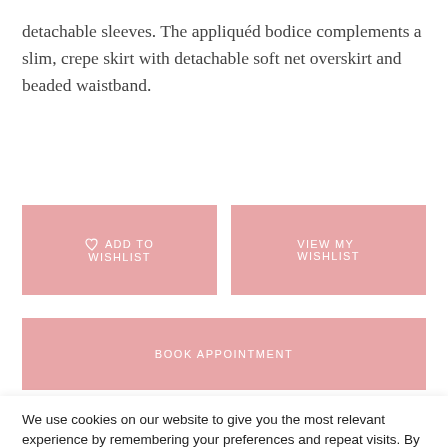detachable sleeves. The appliquéd bodice complements a slim, crepe skirt with detachable soft net overskirt and beaded waistband.
ADD TO WISHLIST
VIEW MY WISHLIST
BOOK APPOINTMENT
We use cookies on our website to give you the most relevant experience by remembering your preferences and repeat visits. By clicking "Accept All", you consent to the use of ALL the cookies. However, you may visit 'Cookie Settings' to provide a controlled consent.
Cookie Settings
Accept All